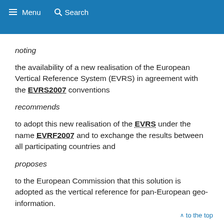≡ Menu  🔍 Search
noting
the availability of a new realisation of the European Vertical Reference System (EVRS) in agreement with the EVRS2007 conventions
recommends
to adopt this new realisation of the EVRS under the name EVRF2007 and to exchange the results between all participating countries and
proposes
to the European Commission that this solution is adopted as the vertical reference for pan-European geo-information.
∧ to the top